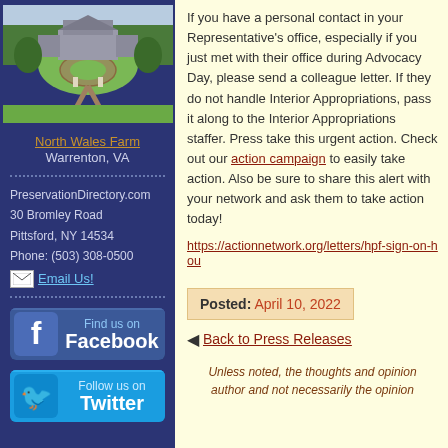[Figure (photo): Aerial photo of North Wales Farm, a large estate with circular driveway and green lawns, Warrenton VA]
North Wales Farm
Warrenton, VA
PreservationDirectory.com
30 Bromley Road
Pittsford, NY 14534
Phone: (503) 308-0500
Email Us!
[Figure (illustration): Find us on Facebook button]
[Figure (illustration): Follow us on Twitter button]
If you have a personal contact in your Representative's office, especially if you just met with their office during Advocacy Day, please send a colleague letter. If they do not handle Interior Appropriations, pass it along to the Interior Appropriations staffer. Please take this urgent action. Check out our action campaign to easily take action. Also be sure to share this alert with your network and ask them to take action today!
https://actionnetwork.org/letters/hpf-sign-on-hou
Posted: April 10, 2022
Back to Press Releases
Unless noted, the thoughts and opinions expressed are those of the author and not necessarily the opinions of PreservationDirectory.com